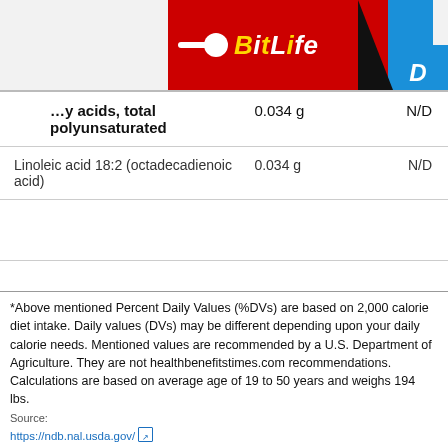[Figure (screenshot): BitLife ad banner in red with yellow italic text and blue block on the right]
| Nutrient | Amount | DV |
| --- | --- | --- |
| …y acids, total polyunsaturated | 0.034 g | N/D |
| Linoleic acid 18:2 (octadecadienoic acid) | 0.034 g | N/D |
*Above mentioned Percent Daily Values (%DVs) are based on 2,000 calorie diet intake. Daily values (DVs) may be different depending upon your daily calorie needs. Mentioned values are recommended by a U.S. Department of Agriculture. They are not healthbenefitstimes.com recommendations. Calculations are based on average age of 19 to 50 years and weighs 194 lbs.
Source:
https://ndb.nal.usda.gov/